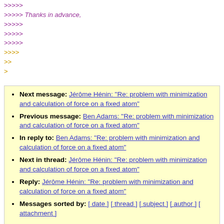>>>>>
>>>>> Thanks in advance,
>>>>>
>>>>>
>>>>>
>>>>
>>
>
Next message: Jérôme Hénin: "Re: problem with minimization and calculation of force on a fixed atom"
Previous message: Ben Adams: "Re: problem with minimization and calculation of force on a fixed atom"
In reply to: Ben Adams: "Re: problem with minimization and calculation of force on a fixed atom"
Next in thread: Jérôme Hénin: "Re: problem with minimization and calculation of force on a fixed atom"
Reply: Jérôme Hénin: "Re: problem with minimization and calculation of force on a fixed atom"
Messages sorted by: [ date ] [ thread ] [ subject ] [ author ] [ attachment ]
This archive was generated by hypermail 2.1.6 : Mon Dec 31 2018 - 23:20:34 CST